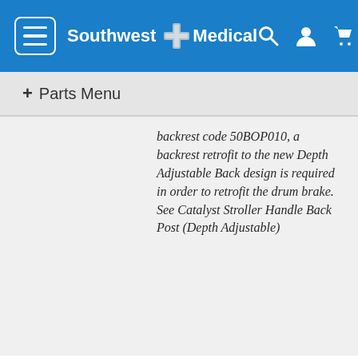Southwest Medical
+ Parts Menu
backrest code 50BOP010, a backrest retrofit to the new Depth Adjustable Back design is required in order to retrofit the drum brake. See Catalyst Stroller Handle Back Post (Depth Adjustable)